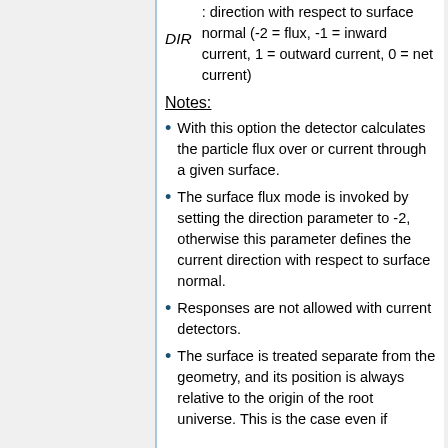DIR : direction with respect to surface normal (-2 = flux, -1 = inward current, 1 = outward current, 0 = net current)
Notes:
With this option the detector calculates the particle flux over or current through a given surface.
The surface flux mode is invoked by setting the direction parameter to -2, otherwise this parameter defines the current direction with respect to surface normal.
Responses are not allowed with current detectors.
The surface is treated separate from the geometry, and its position is always relative to the origin of the root universe. This is the case even if